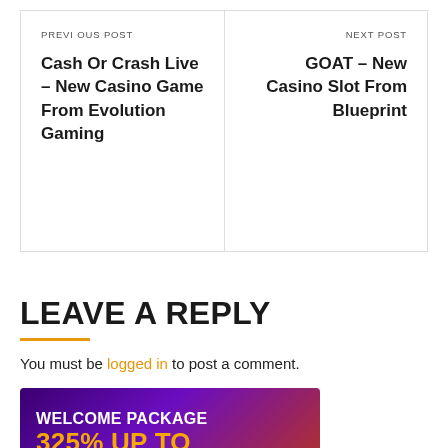PREVIOUS POST
Cash Or Crash Live – New Casino Game From Evolution Gaming
NEXT POST
GOAT – New Casino Slot From Blueprint
LEAVE A REPLY
You must be logged in to post a comment.
[Figure (infographic): Casino welcome package banner: WELCOME PACKAGE 325% UP TO €750 + 170FS on purple/orange gradient background]